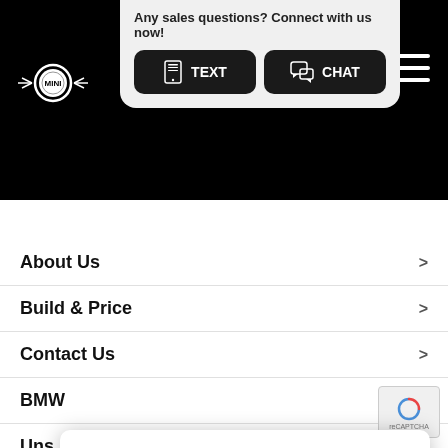[Figure (screenshot): MINI Canada website screenshot showing hero section with black background, MINI logo, a sales chat popup with TEXT and CHAT buttons, location pin icon, and hamburger menu]
Any sales questions? Connect with us now!
TEXT
CHAT
About Us >
Build & Price >
Contact Us >
BMW >
Uns >
Coo >
Priv >
Term >
Cookies on the MINI Canada website.
We use cookies to ensure that we give you the best experience on our website. However, if you would like to, you can change your cookie settings at any time, through your browser settings. You may not disable certain types of cookies that are essential to the operation of our website and that are considered strictly necessary cookies. For example, we use strictly necessary cookies to provide you with regional pricing information. You can find detailed information about how cookies are used on this website by clicking here.